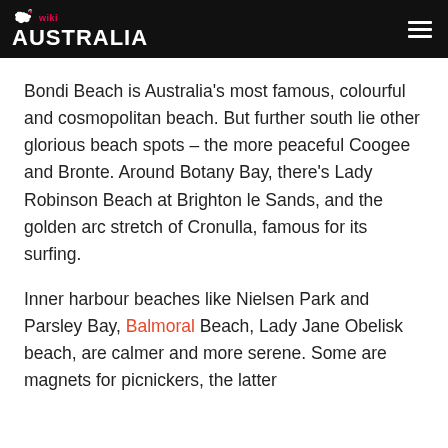wiki AUSTRALIA
Bondi Beach is Australia's most famous, colourful and cosmopolitan beach. But further south lie other glorious beach spots – the more peaceful Coogee and Bronte. Around Botany Bay, there's Lady Robinson Beach at Brighton le Sands, and the golden arc stretch of Cronulla, famous for its surfing.
Inner harbour beaches like Nielsen Park and Parsley Bay, Balmoral Beach, Lady Jane Obelisk beach, are calmer and more serene. Some are magnets for picnickers, the latter